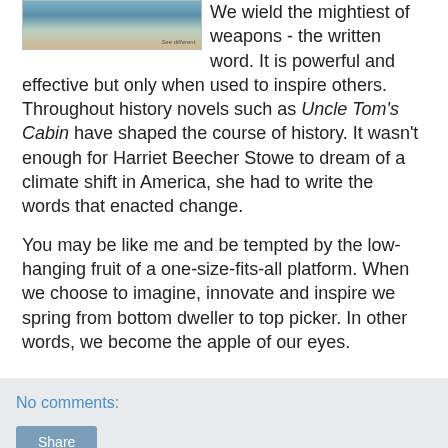[Figure (photo): Close-up photo of an eye with 'See different.' text overlay in bottom right corner]
We wield the mightiest of weapons - the written word. It is powerful and effective but only when used to inspire others. Throughout history novels such as Uncle Tom's Cabin have shaped the course of history. It wasn't enough for Harriet Beecher Stowe to dream of a climate shift in America, she had to write the words that enacted change.
You may be like me and be tempted by the low-hanging fruit of a one-size-fits-all platform. When we choose to imagine, innovate and inspire we spring from bottom dweller to top picker. In other words, we become the apple of our eyes.
No comments:
Share
Thursday, October 13, 2011
5 Ways to Get on the Shelf and Get Noticed